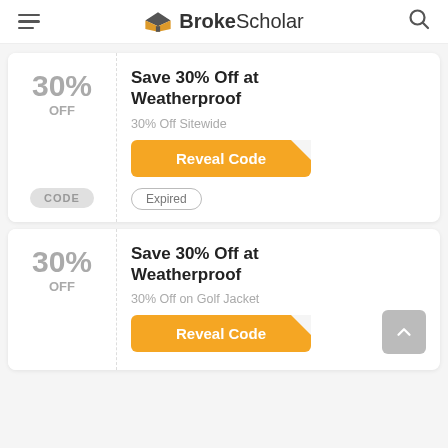BrokeScholar
30% OFF
Save 30% Off at Weatherproof
30% Off Sitewide
Reveal Code
Expired
CODE
30% OFF
Save 30% Off at Weatherproof
30% Off on Golf Jacket
Reveal Code